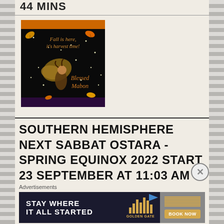44 MINS
[Figure (illustration): Autumn harvest fairy greeting card image on black background with orange header bar. Text reads 'Fall is here, it's harvest time! Blessed Mabon' with autumn leaves and fairy figure decorated with glittering stars.]
SOUTHERN HEMISPHERE NEXT SABBAT OSTARA - SPRING EQUINOX 2022 START 23 SEPTEMBER AT 11:03 AM
Advertisements
[Figure (screenshot): Advertisement banner for Golden Gate hotel: 'STAY WHERE IT ALL STARTED' with building logo bars and BOOK NOW button.]